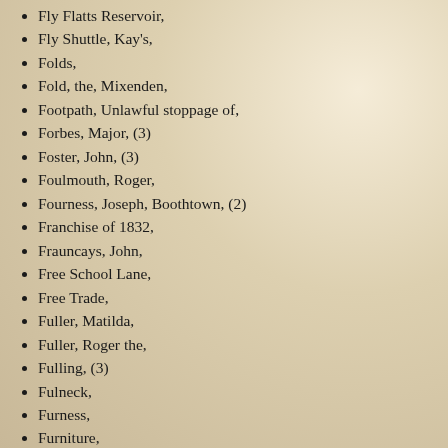Fly Flatts Reservoir,
Fly Shuttle, Kay's,
Folds,
Fold, the, Mixenden,
Footpath, Unlawful stoppage of,
Forbes, Major, (3)
Foster, John, (3)
Foulmouth, Roger,
Fourness, Joseph, Boothtown, (2)
Franchise of 1832,
Frauncays, John,
Free School Lane,
Free Trade,
Fuller, Matilda,
Fuller, Roger the,
Fulling, (3)
Fulneck,
Furness,
Furniture,
Garden City : Akroydon,
Gardiner, Professor,
Gaylington, Thomas,
Geldhird, William the,
German House, Lightcliffe,
Gibbet Lane,